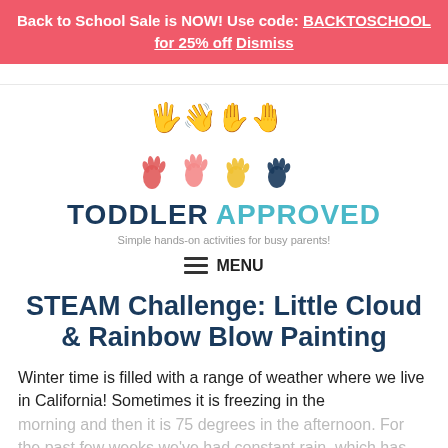Back to School Sale is NOW! Use code: BACKTOSCHOOL for 25% off Dismiss
[Figure (logo): Toddler Approved logo with four colorful handprint icons above the text 'TODDLER APPROVED' and tagline 'Simple hands-on activities for busy parents!']
MENU
STEAM Challenge: Little Cloud & Rainbow Blow Painting
Winter time is filled with a range of weather where we live in California! Sometimes it is freezing in the morning and then it is 75 degrees in the afternoon. For the past few weeks we've had constant rain, which has.